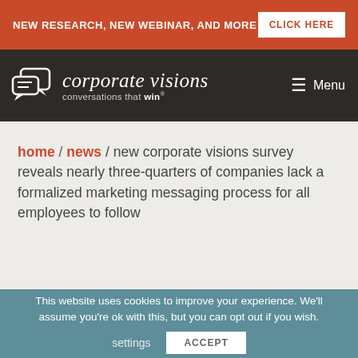NEW RESEARCH, NEW WEBINAR, AND MORE   CLICK HERE
[Figure (logo): Corporate Visions logo with chat bubble icons and text 'corporate visions conversations that win®' plus Menu navigation]
home / news / new corporate visions survey reveals nearly three-quarters of companies lack a formalized marketing messaging process for all employees to follow
This website uses cookies to improve your experience. We'll assume you're ok with this, but you can opt out if you wish.  settings   ACCEPT